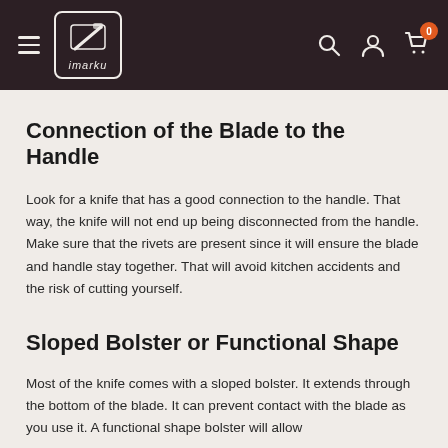imarku navigation header with logo, hamburger menu, search, account, and cart icons
Connection of the Blade to the Handle
Look for a knife that has a good connection to the handle. That way, the knife will not end up being disconnected from the handle. Make sure that the rivets are present since it will ensure the blade and handle stay together. That will avoid kitchen accidents and the risk of cutting yourself.
Sloped Bolster or Functional Shape
Most of the knife comes with a sloped bolster. It extends through the bottom of the blade. It can prevent contact with the blade as you use it. A functional shape bolster will allow